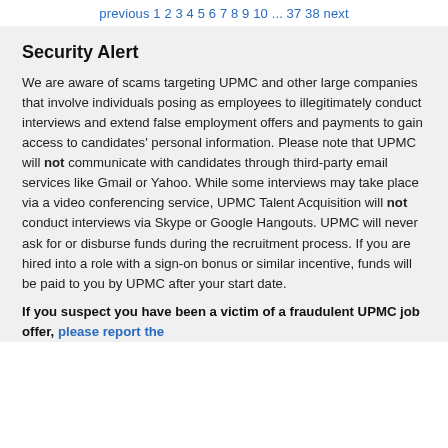previous 1 2 3 4 5 6 7 8 9 10 ... 37 38 next
Security Alert
We are aware of scams targeting UPMC and other large companies that involve individuals posing as employees to illegitimately conduct interviews and extend false employment offers and payments to gain access to candidates' personal information. Please note that UPMC will not communicate with candidates through third-party email services like Gmail or Yahoo. While some interviews may take place via a video conferencing service, UPMC Talent Acquisition will not conduct interviews via Skype or Google Hangouts. UPMC will never ask for or disburse funds during the recruitment process. If you are hired into a role with a sign-on bonus or similar incentive, funds will be paid to you by UPMC after your start date.
If you suspect you have been a victim of a fraudulent UPMC job offer, please report the